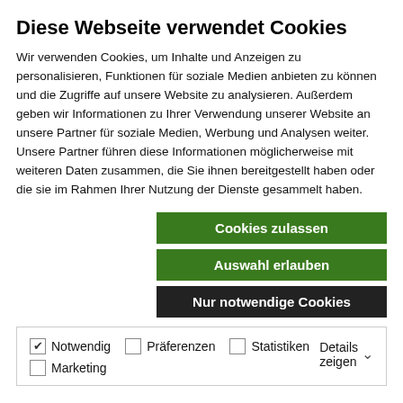Diese Webseite verwendet Cookies
Wir verwenden Cookies, um Inhalte und Anzeigen zu personalisieren, Funktionen für soziale Medien anbieten zu können und die Zugriffe auf unsere Website zu analysieren. Außerdem geben wir Informationen zu Ihrer Verwendung unserer Website an unsere Partner für soziale Medien, Werbung und Analysen weiter. Unsere Partner führen diese Informationen möglicherweise mit weiteren Daten zusammen, die Sie ihnen bereitgestellt haben oder die sie im Rahmen Ihrer Nutzung der Dienste gesammelt haben.
Cookies zulassen
Auswahl erlauben
Nur notwendige Cookies
Notwendig  Präferenzen  Statistiken  Marketing  Details zeigen
Ipsum which looks reasonable.
Von admin  |  Juni 30th, 2015  |  Commercial, Concepts, Landscapes  |  0 Kommentare